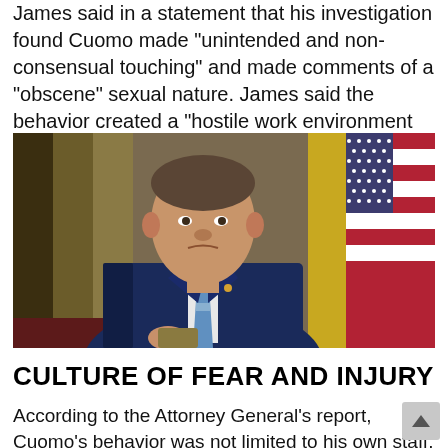James said in a statement that his investigation found Cuomo made "unintended and non-consensual touching" and made comments of a "obscene" sexual nature. James said the behavior created a "hostile work environment for women."
[Figure (photo): Photo of a man in a dark navy suit with a striped tie standing in front of an American flag and decorative background, looking stern.]
CULTURE OF FEAR AND INJURY
According to the Attorney General's report, Cuomo's behavior was not limited to his own staff, but